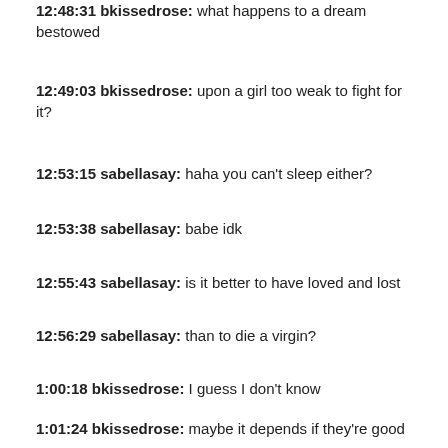12:48:31 bkissedrose: what happens to a dream bestowed
12:49:03 bkissedrose: upon a girl too weak to fight for it?
12:53:15 sabellasay: haha you can't sleep either?
12:53:38 sabellasay: babe idk
12:55:43 sabellasay: is it better to have loved and lost
12:56:29 sabellasay: than to die a virgin?
1:00:18 bkissedrose: I guess I don't know
1:01:24 bkissedrose: maybe it depends if they're good